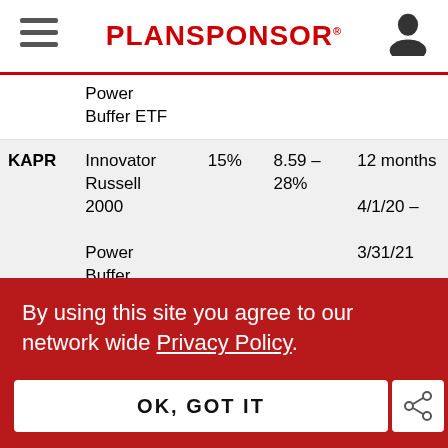PLANSPONSOR
| Ticker | Fund Name | Buffer | Cap Range | Outcome Period |
| --- | --- | --- | --- | --- |
|  | Power Buffer ETF |  |  |  |
| KAPR | Innovator Russell 2000 Power Buffer ETF™ | 15% | 8.59 – 28% | 12 months 4/1/20 – 3/31/21 |
By using this site you agree to our network wide Privacy Policy.
OK, GOT IT